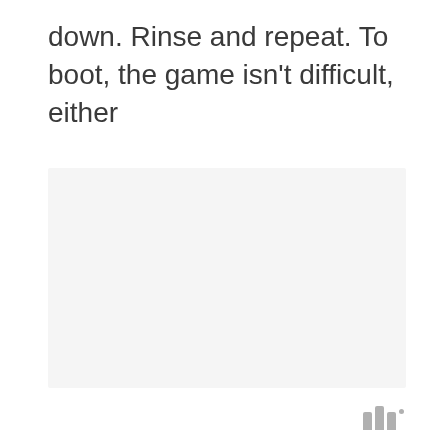down. Rinse and repeat. To boot, the game isn't difficult, either
[Figure (other): Large light gray rectangular image placeholder area]
[Figure (logo): Small logo mark consisting of three vertical bars of increasing height with a small dot, in light gray]